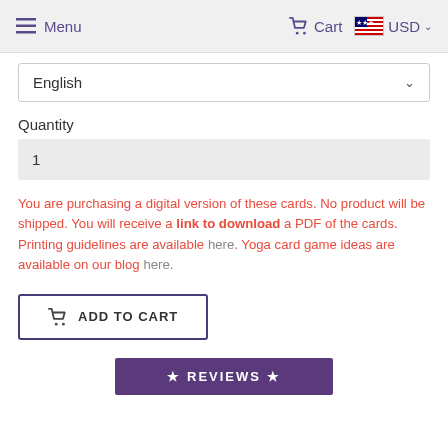Menu  Cart  USD
English
Quantity
1
You are purchasing a digital version of these cards. No product will be shipped. You will receive a link to download a PDF of the cards. Printing guidelines are available here. Yoga card game ideas are available on our blog here.
ADD TO CART
★ REVIEWS ★